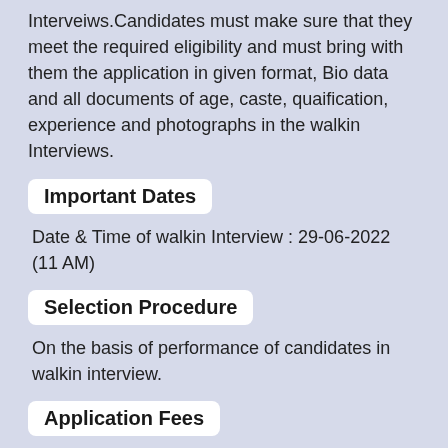Interveiws.Candidates must make sure that they meet the required eligibility and must bring with them the application in given format, Bio data and all documents of age, caste, quaification, experience and photographs in the walkin Interviews.
Important Dates
Date & Time of walkin Interview : 29-06-2022 (11 AM)
Selection Procedure
On the basis of performance of candidates in walkin interview.
Application Fees
No Application fee.
Application Procedure